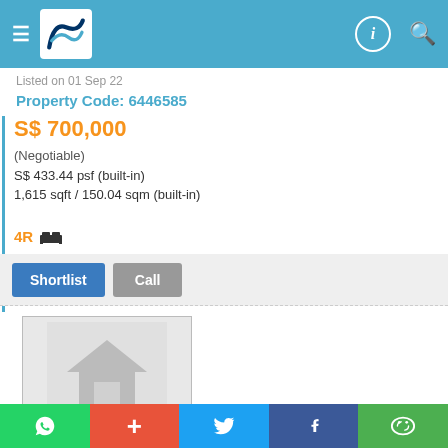Navigation bar with menu, logo, phone and search icons
Listed on 01 Sep 22
Property Code: 6446585
S$ 700,000
(Negotiable)
S$ 433.44 psf (built-in)
1,615 sqft / 150.04 sqm (built-in)
4R
[Figure (other): Shortlist and Call action buttons]
[Figure (photo): Property placeholder image with house icon]
WhatsApp, Add, Twitter, Facebook, WeChat social share buttons